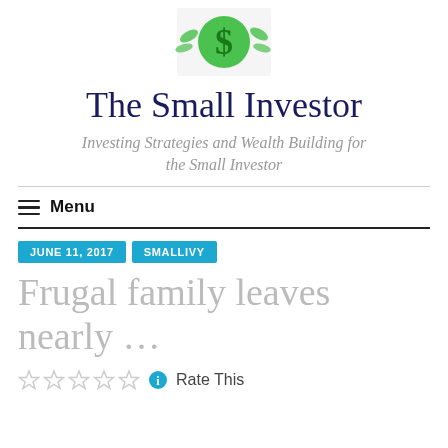[Figure (logo): The Small Investor logo: green dollar sign with leaves/vines]
The Small Investor
Investing Strategies and Wealth Building for the Small Investor
≡ Menu
JUNE 11, 2017 | SMALLIVY
Frugal family leaves nearly ...
Rate This